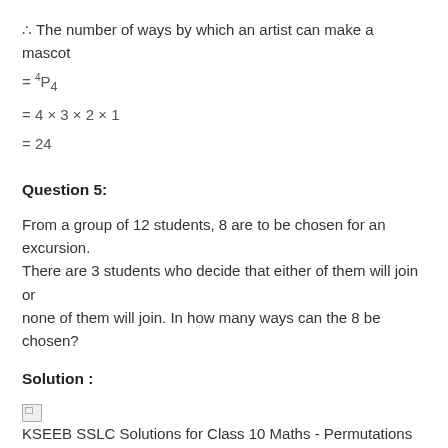∴ The number of ways by which an artist can make a mascot
Question 5:
From a group of 12 students, 8 are to be chosen for an excursion. There are 3 students who decide that either of them will join or none of them will join. In how many ways can the 8 be chosen?
Solution :
[Figure (illustration): KSEEB SSLC Solutions for Class 10 Maths - Permutations and Combinations-Ex-4.8-5s (image placeholder)]
[Figure (illustration): KSEEB SSLC Solutions for Class 10 Maths - Permutations and Combinations-Ex-4.8-5s (image placeholder)]